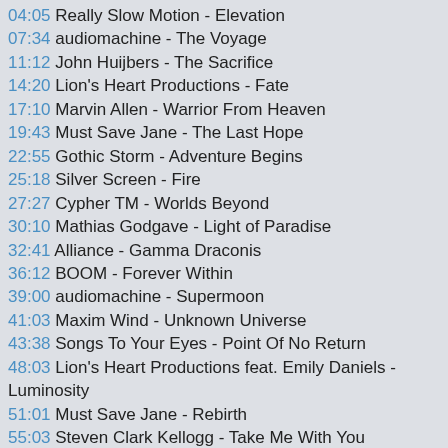04:05 Really Slow Motion - Elevation
07:34 audiomachine - The Voyage
11:12 John Huijbers - The Sacrifice
14:20 Lion's Heart Productions - Fate
17:10 Marvin Allen - Warrior From Heaven
19:43 Must Save Jane - The Last Hope
22:55 Gothic Storm - Adventure Begins
25:18 Silver Screen - Fire
27:27 Cypher TM - Worlds Beyond
30:10 Mathias Godgave - Light of Paradise
32:41 Alliance - Gamma Draconis
36:12 BOOM - Forever Within
39:00 audiomachine - Supermoon
41:03 Maxim Wind - Unknown Universe
43:38 Songs To Your Eyes - Point Of No Return
48:03 Lion's Heart Productions feat. Emily Daniels - Luminosity
51:01 Must Save Jane - Rebirth
55:03 Steven Clark Kellogg - Take Me With You
57:25 Tomas Oliva - Everlasting
Image link : http://pastebin.com/3AjHncw6
Video was edited by PRIME Media